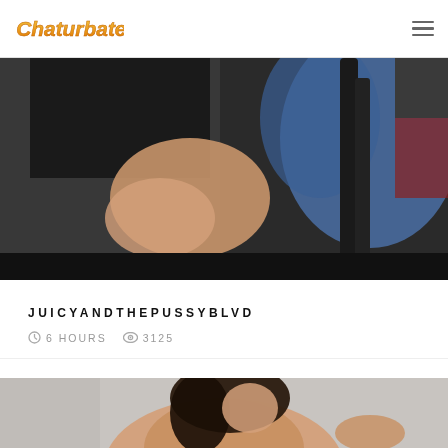Chaturbate
[Figure (photo): Webcam thumbnail showing a person bent over in a blue outfit near a chair]
JUICYANDTHEPUSSYBLVD
6 HOURS   3125
[Figure (photo): Webcam thumbnail showing a woman with dark hair looking upward, partially visible]